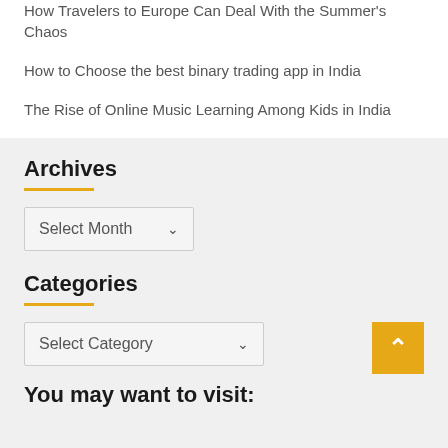How Travelers to Europe Can Deal With the Summer's Chaos
How to Choose the best binary trading app in India
The Rise of Online Music Learning Among Kids in India
Archives
Select Month
Categories
Select Category
You may want to visit: